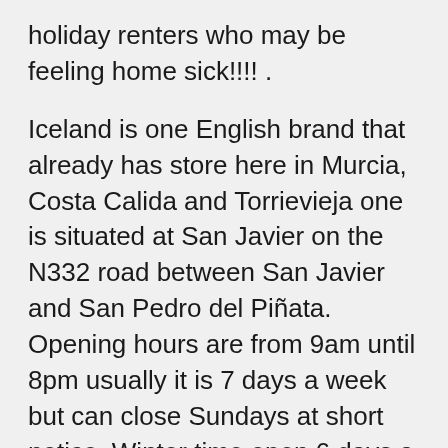holiday renters who may be feeling home sick!!!! .
Iceland is one English brand that already has store here in Murcia, Costa Calida and Torrievieja one is situated at San Javier on the N332 road between San Javier and San Pedro del Piñata.  Opening hours are from 9am until 8pm usually it is 7 days a week but can close Sundays at short notice. Winter time open 6 days a week. The other Iceland store is at  P.I. Casa Grande – Avda. Cortes Valencianas,  at Torrievieja. And the new store at Benidorm has just opened as of January 2011.